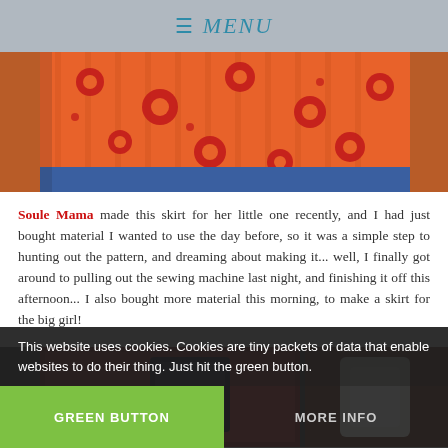≡ MENU
[Figure (photo): Orange fabric with red floral pattern and blue border edge, laid on a wooden surface — a skirt being sewn.]
Soule Mama made this skirt for her little one recently, and I had just bought material I wanted to use the day before, so it was a simple step to hunting out the pattern, and dreaming about making it... well, I finally got around to pulling out the sewing machine last night, and finishing it off this afternoon... I also bought more material this morning, to make a skirt for the big girl!
[Figure (photo): Two photos side by side: left shows sewing supplies/fabric close-up; right shows a white spool of thread.]
This website uses cookies. Cookies are tiny packets of data that enable websites to do their thing. Just hit the green button.
GREEN BUTTON
MORE INFO